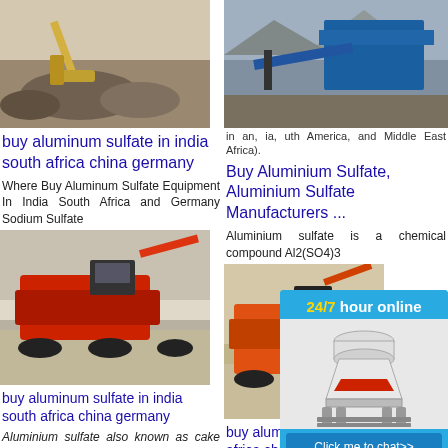[Figure (photo): Mining/construction excavator machine working on rocks, outdoor setting]
buy aluminum sulfate in india south africa china germany
Where Buy Aluminum Sulfate Equipment In India South Africa and Germany Sodium Sulfate
[Figure (photo): Red mobile crushing/screening machine on gravel site]
Aluminium Sulfate buy aluminum sulfate in india south africa china germany
Aluminium sulfate also known as cake alum or aluminum salt is a chemical matter ...
We buy aluminum ingots ... , I am Vipul Patel From Savalia Impex Pvt Ltd. India. we are
[Figure (photo): Industrial machinery with blue conveyor belt structure in mountainous area]
Buy Aluminium Sulfate, Aluminium Sulfate Manufacturers ...
Aluminium sulfate is a chemical compound Al2(SO4)3
[Figure (photo): Orange/red crushing machine on outdoor gravel site]
buy aluminum sulfate in india south africa china germany
The mark the globe includes
[Figure (infographic): 24/7 hour online chat widget with cone crusher image, Click me to chat button, Enquiry section, limingjlmofen text]